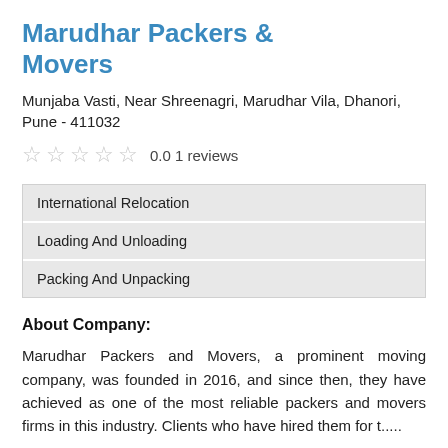Marudhar Packers & Movers
Munjaba Vasti, Near Shreenagri, Marudhar Vila, Dhanori, Pune - 411032
0.0 1 reviews
International Relocation
Loading And Unloading
Packing And Unpacking
About Company:
Marudhar Packers and Movers, a prominent moving company, was founded in 2016, and since then, they have achieved as one of the most reliable packers and movers firms in this industry. Clients who have hired them for t.....